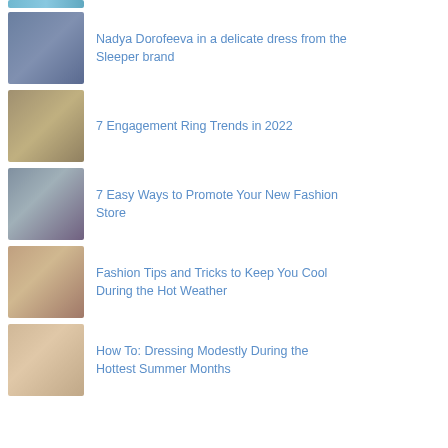[Figure (photo): Partial top image, cropped — teal/blue tones, appears to be a nature or outdoor photo strip]
Nadya Dorofeeva in a delicate dress from the Sleeper brand
7 Engagement Ring Trends in 2022
7 Easy Ways to Promote Your New Fashion Store
Fashion Tips and Tricks to Keep You Cool During the Hot Weather
How To: Dressing Modestly During the Hottest Summer Months